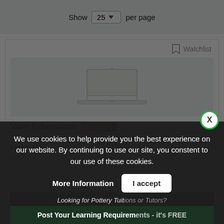Show 25 per page
[Figure (screenshot): Course thumbnail placeholder image with laptop outline on light grey background]
Watchlist
Vibe Education PREMIUM
Training Experience Center For IELTS,PTE,OET,GED, More courses
Area ...
We use cookies to help provide you the best experience on our website. By continuing to use our site, you constent to our use of these cookies.
More Information
I accept
Looking for Pottery Tuitions or Tutors?
Post Your Learning Requirements - it's FREE